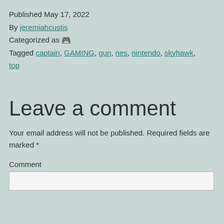Published May 17, 2022
By jeremiahcustis
Categorized as 🎮
Tagged captain, GAMING, gun, nes, nintendo, skyhawk, top
Leave a comment
Your email address will not be published. Required fields are marked *
Comment